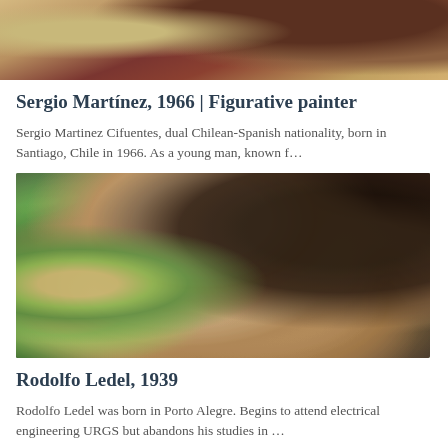[Figure (illustration): Top portion of a figurative painting showing draped fabric in warm browns, reds, and golds — cropped view of the upper section of an artwork]
Sergio Martínez, 1966 | Figurative painter
Sergio Martinez Cifuentes, dual Chilean-Spanish nationality, born in Santiago, Chile in 1966. As a young man, known f…
[Figure (illustration): Figurative oil painting depicting two intertwined nude figures embracing, with a background featuring sunflowers and a garden scene on the left, earthy tones dominate the composition]
Rodolfo Ledel, 1939
Rodolfo Ledel was born in Porto Alegre. Begins to attend electrical engineering URGS but abandons his studies in …